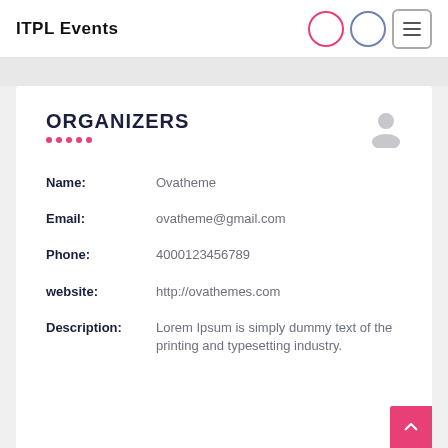ITPL Events
ORGANIZERS
Name: Ovatheme
Email: ovatheme@gmail.com
Phone: 4000123456789
website: http://ovathemes.com
Description: Lorem Ipsum is simply dummy text of the printing and typesetting industry.